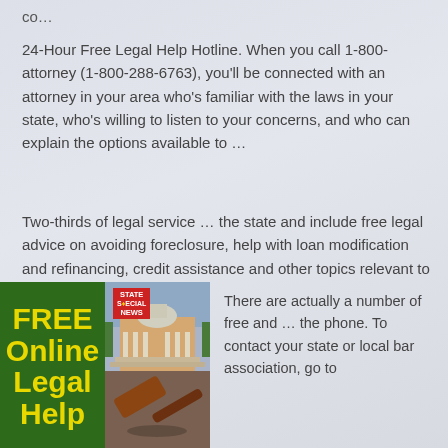co…
24-Hour Free Legal Help Hotline. When you call 1-800-attorney (1-800-288-6763), you'll be connected with an attorney in your area who's familiar with the laws in your state, who's willing to listen to your concerns, and who can explain the options available to …
Two-thirds of legal service … the state and include free legal advice on avoiding foreclosure, help with loan modification and refinancing, credit assistance and other topics relevant to homeowners …
[Figure (illustration): Composite image: left green panel with yellow text reading FREE Online Legal Help, right panel showing a courthouse building at top and a gavel at bottom, with a red STATE SPECIAL NEWS badge overlay]
There are actually a number of free and … the phone. To contact your state or local bar association, go to